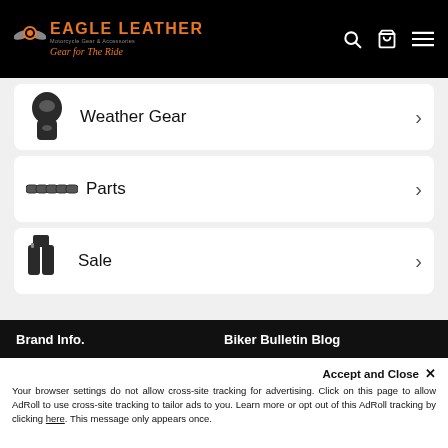Eagle Leather - Motorcycle Gear & Accessories - Gear for The Ride
Weather Gear
Parts
Sale
Brand Info.
Biker Bulletin Blog
About Us
Contact Us
Biker Bulletin News
Articles
Hours of Operation
Gear News
Accept and Close ✕ Your browser settings do not allow cross-site tracking for advertising. Click on this page to allow AdRoll to use cross-site tracking to tailor ads to you. Learn more or opt out of this AdRoll tracking by clicking here. This message only appears once.